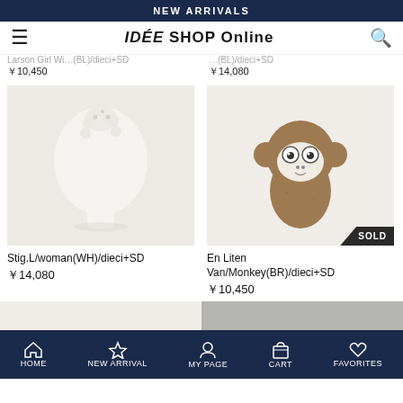NEW ARRIVALS
IDÉE SHOP Online
Larson Girl Wil... (BL)/dieci+SD ￥10,450   ￥14,080
[Figure (photo): White ceramic sculptural head vase product photo on light background]
Stig.L/woman(WH)/dieci+SD ￥14,080
[Figure (photo): Brown ceramic monkey figurine with SOLD badge, product photo on white background]
En Liten Van/Monkey(BR)/dieci+SD ￥10,450
HOME  NEW ARRIVAL  MY PAGE  CART  FAVORITES